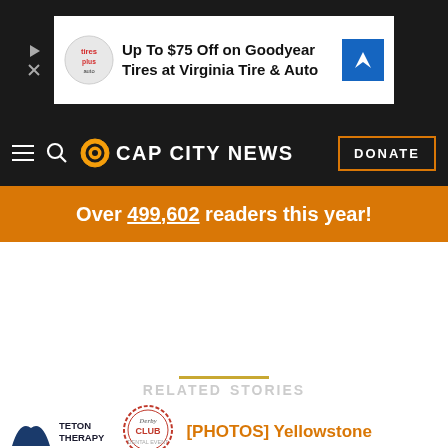[Figure (screenshot): Advertisement banner: Up To $75 Off on Goodyear Tires at Virginia Tire & Auto, with logos and close button]
CAP CITY NEWS — navigation bar with hamburger menu, search icon, logo, and DONATE button
Over 499,602 readers this year!
RELATED STORIES
[Figure (logo): Teton Therapy logo — mountain arch with text TETON THERAPY]
[Figure (logo): Derby Club dental logo — circular badge design]
[PHOTOS] Yellowstone